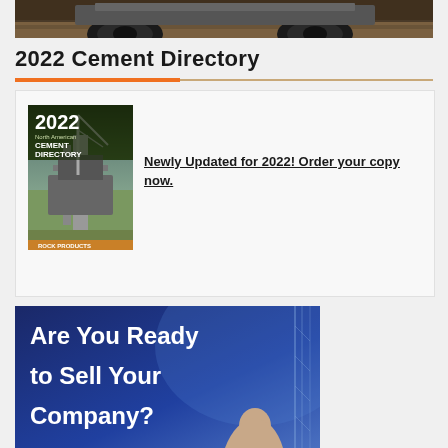[Figure (photo): Partial view of heavy construction vehicle/machinery showing tires and undercarriage on dirt ground]
2022 Cement Directory
[Figure (photo): 2022 North American Cement Directory book cover showing industrial cement plant equipment from aerial view]
Newly Updated for 2022! Order your copy now.
[Figure (photo): Advertisement banner with dark blue background asking 'Are You Ready to Sell Your Company?' with person and tower/crane imagery]